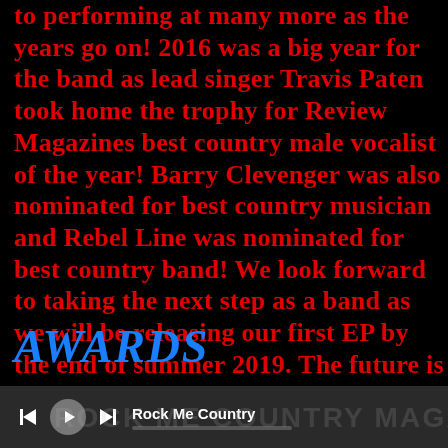to performing at many more as the years go on! 2016 was a big year for the band as lead singer Travis Paten took home the trophy for Review Magazines best country male vocalist of the year! Barry Clevenger was also nominated for best country musician and Rebel Line was nominated for best country band! We look forward to taking the next step as a band as we will be releasing our first EP by the end of summer 2019. The future is bright and we are glad we have you all to be a part of this ride!
AWARDS
[Figure (other): Audio player bar with skip-back, play, skip-forward controls, track title 'Rock Me Country', and a progress bar. Background watermark text partially visible.]